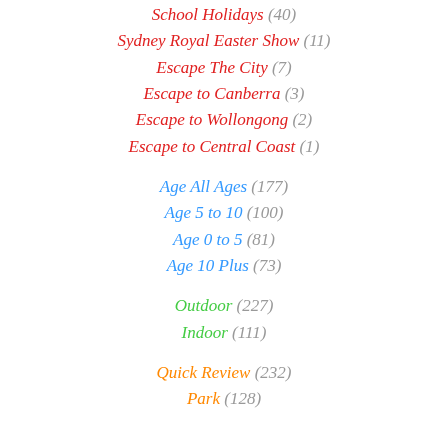School Holidays (40)
Sydney Royal Easter Show (11)
Escape The City (7)
Escape to Canberra (3)
Escape to Wollongong (2)
Escape to Central Coast (1)
Age All Ages (177)
Age 5 to 10 (100)
Age 0 to 5 (81)
Age 10 Plus (73)
Outdoor (227)
Indoor (111)
Quick Review (232)
Park (128)